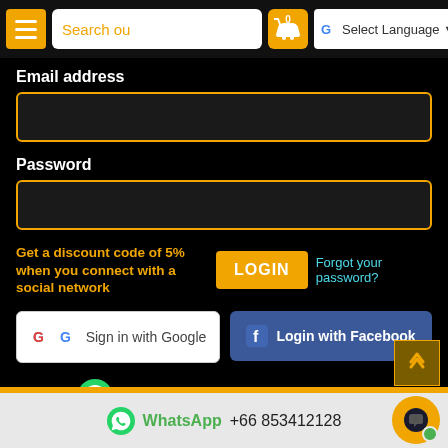[Figure (screenshot): Navigation bar with menu button, search field showing 'Search ou', shopping cart icon with badge showing 0, and Google Translate language selector]
Email address
[Figure (screenshot): Email address input field with gold border]
Password
[Figure (screenshot): Password input field with gold border]
Get a discount code of 5% when you connect with a social network
LOGIN
Forgot your password?
[Figure (screenshot): Sign in with Google button (white background with G logo)]
[Figure (screenshot): Login with Facebook button (blue background with Facebook logo)]
WhatsApp +66 853412128
WhatsApp +66 853412128